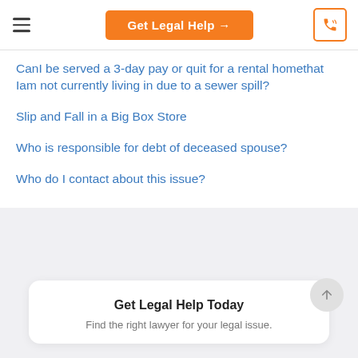Get Legal Help →
CanI be served a 3-day pay or quit for a rental homethat Iam not currently living in due to a sewer spill?
Slip and Fall in a Big Box Store
Who is responsible for debt of deceased spouse?
Who do I contact about this issue?
Get Legal Help Today
Find the right lawyer for your legal issue.